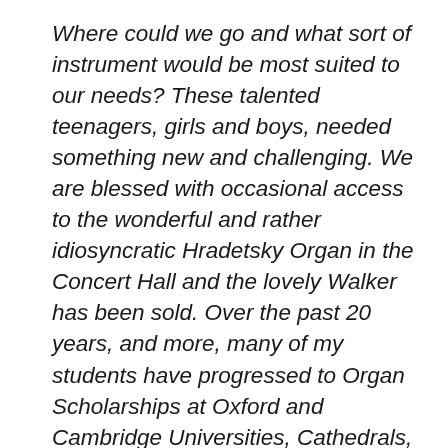Where could we go and what sort of instrument would be most suited to our needs? These talented teenagers, girls and boys, needed something new and challenging. We are blessed with occasional access to the wonderful and rather idiosyncratic Hradetsky Organ in the Concert Hall and the lovely Walker has been sold. Over the past 20 years, and more, many of my students have progressed to Organ Scholarships at Oxford and Cambridge Universities, Cathedrals, Public Schools and Conservatoires where their skills have been admired, and valued for the wider education